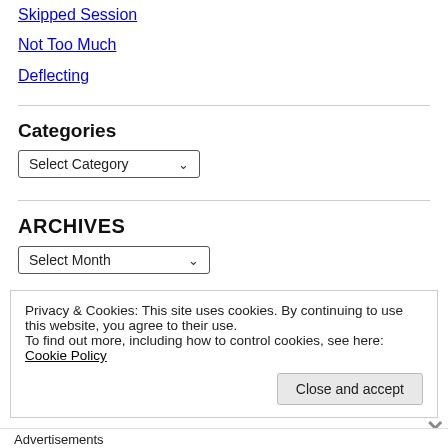Skipped Session
Not Too Much
Deflecting
Categories
Select Category
ARCHIVES
Select Month
Privacy & Cookies: This site uses cookies. By continuing to use this website, you agree to their use.
To find out more, including how to control cookies, see here: Cookie Policy
Close and accept
Advertisements